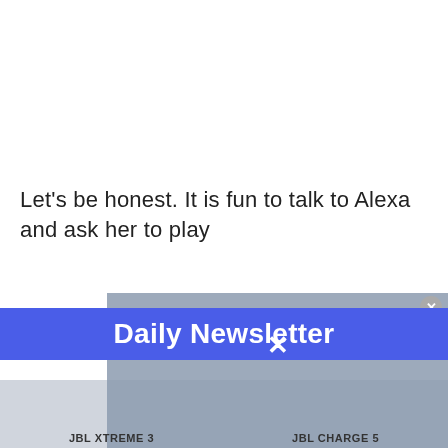Let's be honest. It is fun to talk to Alexa and ask her to play
[Figure (screenshot): A newsletter subscription popup overlay with blue background showing 'Daily Newsletter' text and an X close button, overlapping a video player showing 'No compatible source was found for this media.' message, with product advertisement images below showing JBL XTREME 3 and JBL CHARGE 5 speakers and an airplane photo with 'WITHOUT REGARD TO' badge]